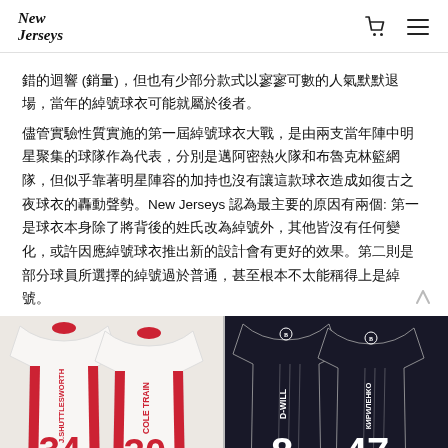New Jerseys
錯的迴響 (銷量)，但也有少部分款式以寥寥可數的人氣默默退場，當年的綽號球衣可能就屬於後者。
儘管實驗性質實施的第一屆綽號球衣大戰，是由兩支當年陣中明星聚集的球隊作為代表，分別是邁阿密熱火隊和布魯克林籃網隊，但似乎靠著明星陣容的加持也沒有讓這款球衣造成如復古之夜球衣的轟動聲勢。New Jerseys 認為最主要的原因有兩個: 第一是球衣本身除了將背後的姓氏改為綽號外，其他皆沒有任何變化，或許因應綽號球衣推出新的設計會有更好的效果。第二則是部分球員所選擇的綽號過於普通，甚至根本不太能稱得上是綽號。
[Figure (photo): Left half: Two white Miami Heat jerseys showing nicknames 'J. SHUTTLESWORTH' (#34) and 'COLE TRAIN' (#30) in red lettering. Right half: Two dark Brooklyn Nets jerseys showing nicknames 'D-WILL' (#8) and 'КИРИЛЕНКО' (#47) in white lettering.]